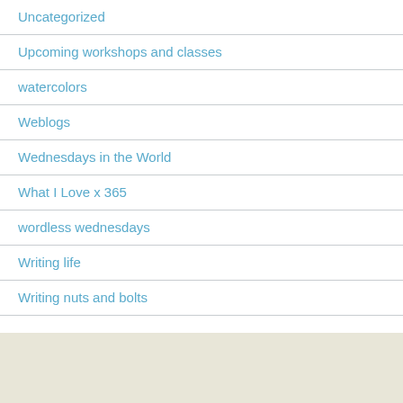Uncategorized
Upcoming workshops and classes
watercolors
Weblogs
Wednesdays in the World
What I Love x 365
wordless wednesdays
Writing life
Writing nuts and bolts